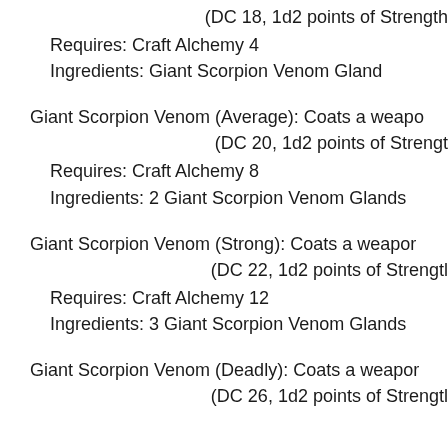(DC 18, 1d2 points of Strength
Requires: Craft Alchemy 4
Ingredients: Giant Scorpion Venom Gland
Giant Scorpion Venom (Average): Coats a weapon (DC 20, 1d2 points of Strength
Requires: Craft Alchemy 8
Ingredients: 2 Giant Scorpion Venom Glands
Giant Scorpion Venom (Strong): Coats a weapon (DC 22, 1d2 points of Strength
Requires: Craft Alchemy 12
Ingredients: 3 Giant Scorpion Venom Glands
Giant Scorpion Venom (Deadly): Coats a weapon (DC 26, 1d2 points of Strength